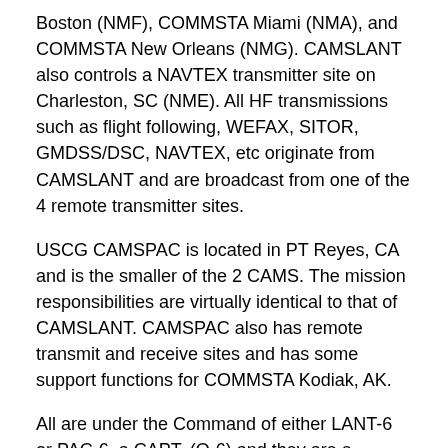Boston (NMF), COMMSTA Miami (NMA), and COMMSTA New Orleans (NMG). CAMSLANT also controls a NAVTEX transmitter site on Charleston, SC (NME). All HF transmissions such as flight following, WEFAX, SITOR, GMDSS/DSC, NAVTEX, etc originate from CAMSLANT and are broadcast from one of the 4 remote transmitter sites.
USCG CAMSPAC is located in PT Reyes, CA and is the smaller of the 2 CAMS. The mission responsibilities are virtually identical to that of CAMSLANT. CAMSPAC also has remote transmit and receive sites and has some support functions for COMMSTA Kodiak, AK.
All are under the Command of either LANT-6 or PAC-6, a CAPT, (O-6) and they are e responsible to the Flag Officer Commanding, the CG-6 Directorate, C4IT branch.
The USCG uses 4 different types of mechanisms for HF